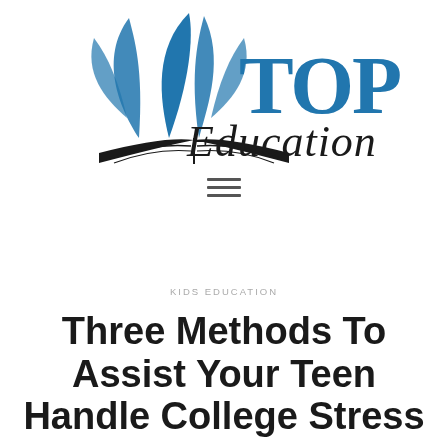[Figure (logo): TOP Education logo with blue leaf/plant icon above an open book, with 'TOP' in large blue bold serif text and 'Education' in black cursive script]
[Figure (other): Hamburger menu icon — three horizontal parallel lines]
KIDS EDUCATION
Three Methods To Assist Your Teen Handle College Stress